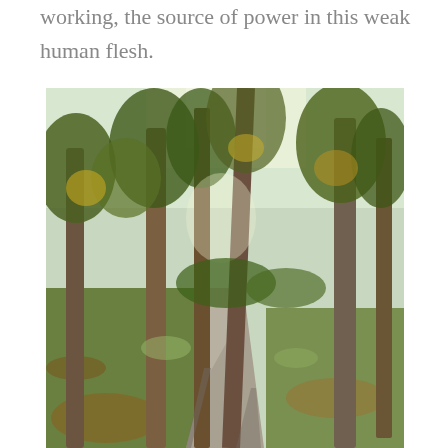working, the source of power in this weak human flesh.
[Figure (photo): A path through a wooded area with trees on both sides, green grass, fallen autumn leaves, and bright sunlight filtering through the tree canopy. The path leads into the distance.]